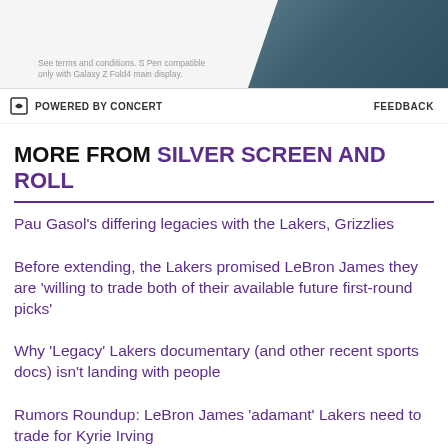[Figure (other): Samsung Galaxy Z Fold4 advertisement banner with phone image and small print text]
See terms and conditions. S Pen compatible only with Galaxy Z Fold4 main display.
POWERED BY CONCERT    FEEDBACK
MORE FROM SILVER SCREEN AND ROLL
Pau Gasol's differing legacies with the Lakers, Grizzlies
Before extending, the Lakers promised LeBron James they are 'willing to trade both of their available future first-round picks'
Why 'Legacy' Lakers documentary (and other recent sports docs) isn't landing with people
Rumors Roundup: LeBron James 'adamant' Lakers need to trade for Kyrie Irving
LeBron James appears primed to put up the best 20th season in NBA history
Rob Pelinka has been very active in trying to make a trade